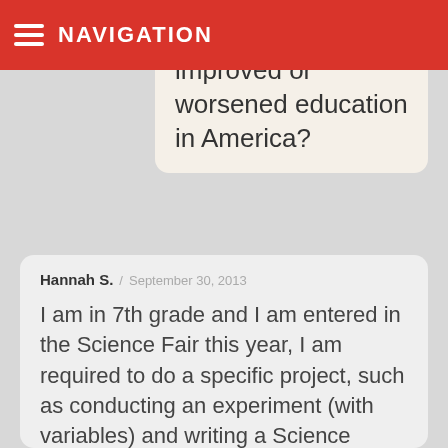NAVIGATION
improved or worsened education in America?
Hannah S. / September 30, 2013
I am in 7th grade and I am entered in the Science Fair this year, I am required to do a specific project, such as conducting an experiment (with variables) and writing a Science Research Paper on that topic. I am really stumped on what to do it on, plus the topic of my experiment is due